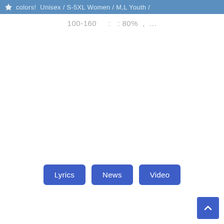colors! Unisex / S-5XL Women / M,L Youth /
100-160  :  : 80% , ...
Lyrics
News
Video